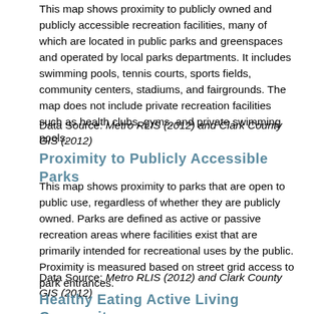This map shows proximity to publicly owned and publicly accessible recreation facilities, many of which are located in public parks and greenspaces and operated by local parks departments. It includes swimming pools, tennis courts, sports fields, community centers, stadiums, and fairgrounds. The map does not include private recreation facilities such as health clubs, gyms, and private swimming pools.
Data Source: Metro RLIS (2012) and Clark County GIS (2012)
Proximity to Publicly Accessible Parks
This map shows proximity to parks that are open to public use, regardless of whether they are publicly owned. Parks are defined as active or passive recreation areas where facilities exist that are primarily intended for recreational uses by the public. Proximity is measured based on street grid access to park entrances.
Data Source: Metro RLIS (2012) and Clark County GIS (2012)
Healthy Eating Active Living Composite Heatmap